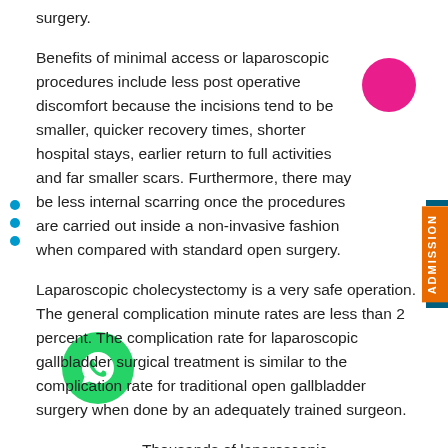surgery.
Benefits of minimal access or laparoscopic procedures include less post operative discomfort because the incisions tend to be smaller, quicker recovery times, shorter hospital stays, earlier return to full activities and far smaller scars. Furthermore, there may be less internal scarring once the procedures are carried out inside a non-invasive fashion when compared with standard open surgery.
Laparoscopic cholecystectomy is a very safe operation. The general complication minute rates are less than 2 percent. The complication rate for laparoscopic gallbladder surgical treatment is similar to the complication rate for traditional open gallbladder surgery when done by an adequately trained surgeon.
Thousands of laparoscopic cholecystectomy happen to be performed in the whole world and this operation comes with an excellent safety...